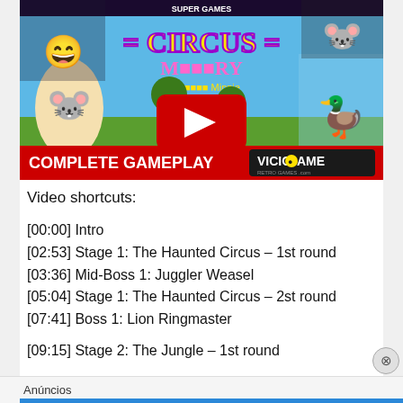[Figure (screenshot): YouTube video thumbnail for a Super Nintendo 'Mickey's Circus Mystery Complete Gameplay' video by VicioGame. Shows cartoon characters including Goofy, Mickey Mouse, Minnie Mouse, and Donald Duck. Red YouTube play button overlay in center. Bottom bar reads 'COMPLETE GAMEPLAY' in white on red, with 'VICIOGAME' logo.]
Video shortcuts:
[00:00] Intro
[02:53] Stage 1: The Haunted Circus – 1st round
[03:36] Mid-Boss 1: Juggler Weasel
[05:04] Stage 1: The Haunted Circus – 2st round
[07:41] Boss 1: Lion Ringmaster
[09:15] Stage 2: The Jungle – 1st round
Anúncios